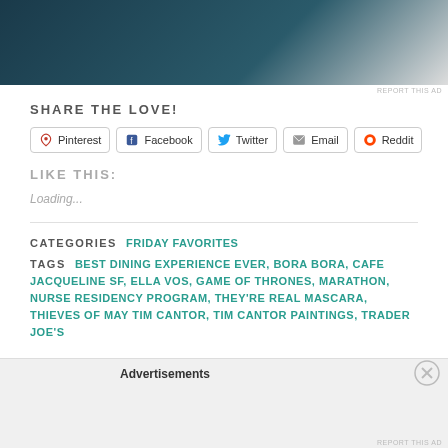[Figure (screenshot): Ad image with dark blue and light gray background]
REPORT THIS AD
SHARE THE LOVE!
Pinterest  Facebook  Twitter  Email  Reddit
LIKE THIS:
Loading...
CATEGORIES  FRIDAY FAVORITES
TAGS  BEST DINING EXPERIENCE EVER, BORA BORA, CAFE JACQUELINE SF, ELLA VOS, GAME OF THRONES, MARATHON, NURSE RESIDENCY PROGRAM, THEY'RE REAL MASCARA, THIEVES OF MAY TIM CANTOR, TIM CANTOR PAINTINGS, TRADER JOE'S
Advertisements